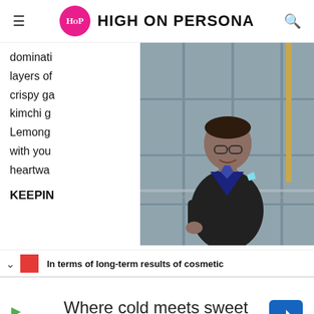HIGH ON PERSONA
dominati
layers of
crispy ga
kimchi g
Lemong
with you
heartwai
[Figure (photo): Man in dark suit with teal pocket square standing at a glass railing, smiling, with large windows in background]
KEEPIN
In terms of long-term results of cosmetic
[Figure (screenshot): SweetFrog advertisement banner: 'Where cold meets sweet' with sweetFrog logo and navigation icon]